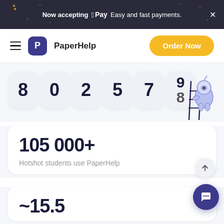Now accepting Apple Pay  Easy and fast payments.
[Figure (logo): PaperHelp navigation bar with hamburger menu, P logo, brand name PaperHelp, and Order Now button]
[Figure (infographic): Animated digit counter showing 802579/8 with astronaut robot climbing a ladder, representing number of papers completed]
105 000+
Hotshot students use PaperHelp
~15.5